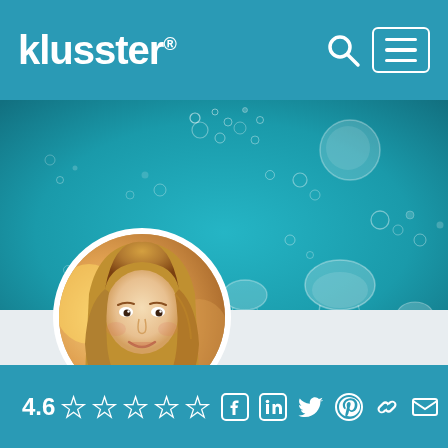klusster®
[Figure (photo): Teal/turquoise background with white bubble patterns scattered across — decorative hero banner image]
[Figure (photo): Circular profile photo of a young woman with long blonde/light brown hair smiling, wearing a dark red top, with blurred warm background]
4.6 ☆☆☆☆☆  [social icons: Facebook, LinkedIn, Twitter, Pinterest, Link, Email]